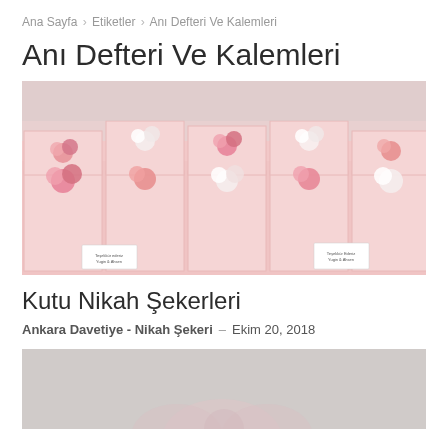Ana Sayfa › Etiketler › Anı Defteri Ve Kalemleri
Anı Defteri Ve Kalemleri
[Figure (photo): Pink gift boxes decorated with pink and white paper flowers/roses, arranged in rows on a table, with small name tags attached.]
Kutu Nikah Şekerleri
Ankara Davetiye - Nikah Şekeri – Ekim 20, 2018
[Figure (photo): Light gray/pink background with partially visible pink paper flower or butterfly shape at the bottom of the page.]